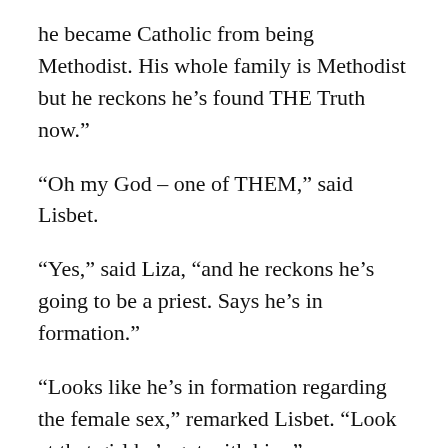he became Catholic from being Methodist. His whole family is Methodist but he reckons he’s found THE Truth now.”
“Oh my God – one of THEM,” said Lisbet.
“Yes,” said Liza, “and he reckons he’s going to be a priest. Says he’s in formation.”
“Looks like he’s in formation regarding the female sex,” remarked Lisbet. “Look at that girl he’s got with him.”
“Oh, that’s Francesca,” said Liza. “Everybody likes her.”